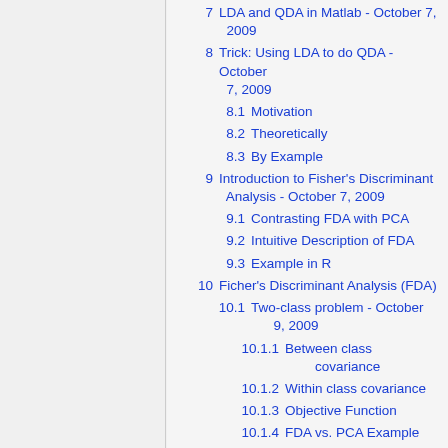7  LDA and QDA in Matlab - October 7, 2009
8  Trick: Using LDA to do QDA - October 7, 2009
8.1  Motivation
8.2  Theoretically
8.3  By Example
9  Introduction to Fisher's Discriminant Analysis - October 7, 2009
9.1  Contrasting FDA with PCA
9.2  Intuitive Description of FDA
9.3  Example in R
10  Ficher's Discriminant Analysis (FDA)
10.1  Two-class problem - October 9, 2009
10.1.1  Between class covariance
10.1.2  Within class covariance
10.1.3  Objective Function
10.1.4  FDA vs. PCA Example